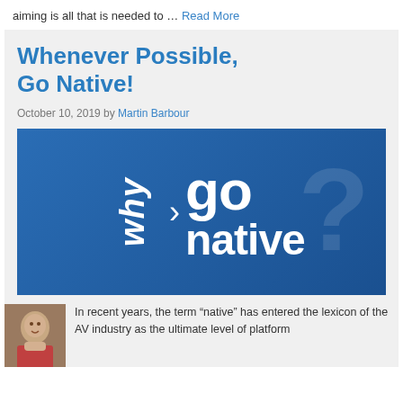aiming is all that is needed to … Read More
Whenever Possible, Go Native!
October 10, 2019 by Martin Barbour
[Figure (illustration): Blue banner image with white bold text reading 'why go native?' with 'why' rotated vertically on the left, an arrow, and 'go native' large text. A faint large question mark appears in the background.]
In recent years, the term “native” has entered the lexicon of the AV industry as the ultimate level of platform